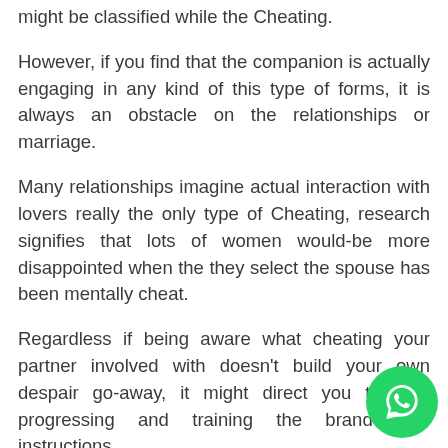might be classified while the Cheating.
However, if you find that the companion is actually engaging in any kind of this type of forms, it is always an obstacle on the relationships or marriage.
Many relationships imagine actual interaction with lovers really the only type of Cheating, research signifies that lots of women would-be more disappointed when the they select the spouse has been mentally cheat.
Regardless if being aware what cheating your partner involved with doesn't build your own despair go-away, it might direct you towards progressing and training the brand new instructions.
Basically, it is the ticket regarding a husband's faith leading so you're able to significant relationship age Regardless of the roots, all of the designs of